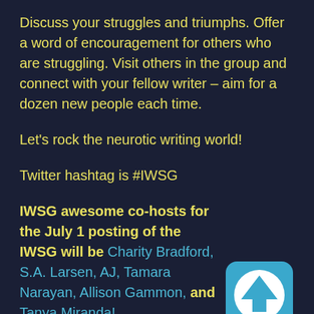Discuss your struggles and triumphs. Offer a word of encouragement for others who are struggling. Visit others in the group and connect with your fellow writer – aim for a dozen new people each time.
Let's rock the neurotic writing world!
Twitter hashtag is #IWSG
IWSG awesome co-hosts for the July 1 posting of the IWSG will be Charity Bradford, S.A. Larsen, AJ, Tamara Narayan, Allison Gammon, and Tanya Miranda!
[Figure (illustration): Blue rounded square icon with a white upward-pointing arrow inside a circle]
This is a Blog Hop!